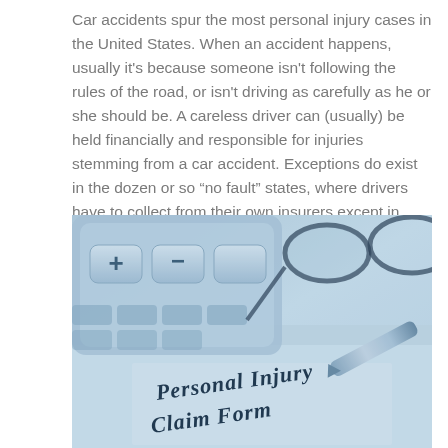Car accidents spur the most personal injury cases in the United States. When an accident happens, usually it's because someone isn't following the rules of the road, or isn't driving as carefully as he or she should be. A careless driver can (usually) be held financially and responsible for injuries stemming from a car accident. Exceptions do exist in the dozen or so “no fault” states, where drivers have to collect from their own insurers except in cases of “serious” injury. Learn more about car accident injury cases.
[Figure (photo): Blue-tinted photo showing a calculator, glasses, a pen, and a Personal Injury Claim Form document on a desk]